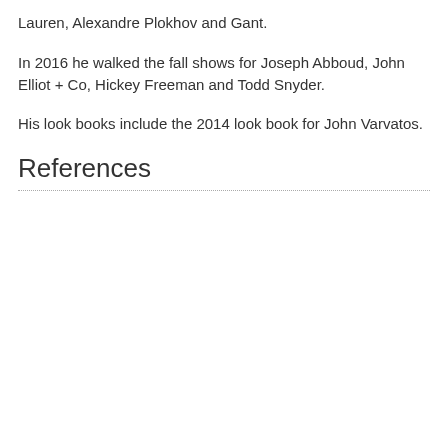Lauren, Alexandre Plokhov and Gant.
In 2016 he walked the fall shows for Joseph Abboud, John Elliot + Co, Hickey Freeman and Todd Snyder.
His look books include the 2014 look book for John Varvatos.
References